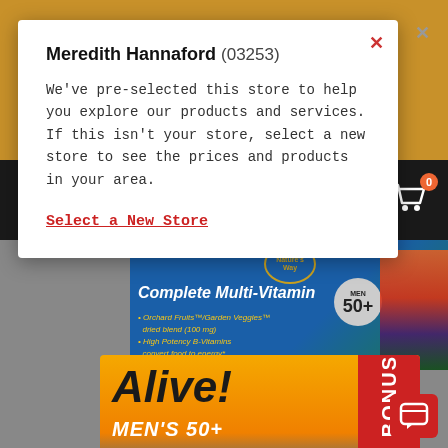[Figure (screenshot): Hannaford grocery website screenshot showing a store pre-selection popup modal over a product page featuring Nature's Way Complete Multi-Vitamin Men 50+ and Alive! Men's 50+ Multi-Vitamin Multi-Mineral supplement boxes]
and Hannaford Online!
Meredith Hannaford (03253)
We've pre-selected this store to help you explore our products and services. If this isn't your store, select a new store to see the prices and products in your area.
Select a New Store